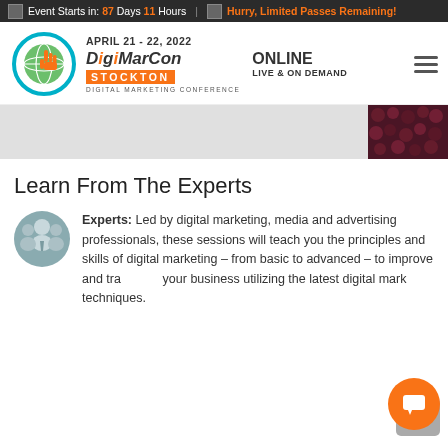Event Starts in: 87 Days 11 Hours  |  Hurry, Limited Passes Remaining!
[Figure (logo): DigiMarCon Stockton logo with globe and hand cursor icon]
APRIL 21 - 22, 2022
DiGiMARCON STOCKTON
ONLINE
LIVE & ON DEMAND
DIGITAL MARKETING CONFERENCE
[Figure (photo): Hero banner with light gray background and dark berry/cranberry photo on the right side]
Learn From The Experts
[Figure (illustration): Group of people / experts icon in gray-blue tones]
Experts: Led by digital marketing, media and advertising professionals, these sessions will teach you the principles and skills of digital marketing – from basic to advanced – to improve and transform your business utilizing the latest digital marketing techniques.